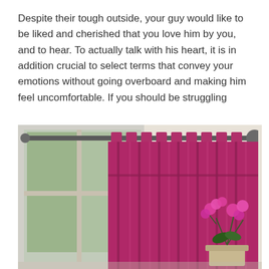Despite their tough outside, your guy would like to be liked and cherished that you love him by you, and to hear. To actually talk with his heart, it is in addition crucial to select terms that convey your emotions without going overboard and making him feel uncomfortable. If you should be struggling
[Figure (photo): A room interior showing magenta/fuchsia tab-top curtains hanging on a silver curtain rod with ball finials, in front of a window with green foliage visible outside. To the right is a potted pink orchid plant on a surface.]